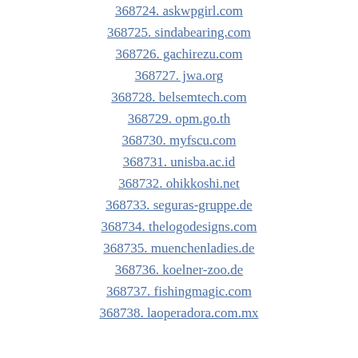368724. askwpgirl.com
368725. sindabearing.com
368726. gachirezu.com
368727. jwa.org
368728. belsemtech.com
368729. opm.go.th
368730. myfscu.com
368731. unisba.ac.id
368732. ohikkoshi.net
368733. seguras-gruppe.de
368734. thelogodesigns.com
368735. muenchenladies.de
368736. koelner-zoo.de
368737. fishingmagic.com
368738. laoperadora.com.mx